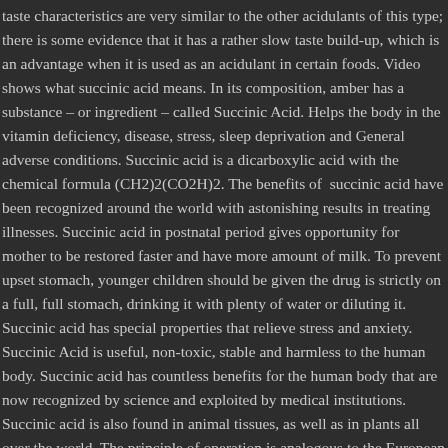taste characteristics are very similar to the other acidulants of this type; there is some evidence that it has a rather slow taste build-up, which is an advantage when it is used as an acidulant in certain foods. Video shows what succinic acid means. In its composition, amber has a substance – or ingredient – called Succinic Acid. Helps the body in the vitamin deficiency, disease, stress, sleep deprivation and General adverse conditions. Succinic acid is a dicarboxylic acid with the chemical formula (CH2)2(CO2H)2. The benefits of succinic acid have been recognized around the world with astonishing results in treating illnesses. Succinic acid in postnatal period gives opportunity for mother to be restored faster and have more amount of milk. To prevent upset stomach, younger children should be given the drug is strictly on a full, full stomach, drinking it with plenty of water or diluting it. Succinic acid has special properties that relieve stress and anxiety. Succinic Acid is useful, non-toxic, stable and harmless to the human body. Succinic acid has countless benefits for the human body that are now recognized by science and exploited by medical institutions. Succinic acid is also found in animal tissues, as well as in plants all over the world. The principle of operation is analogous to the European